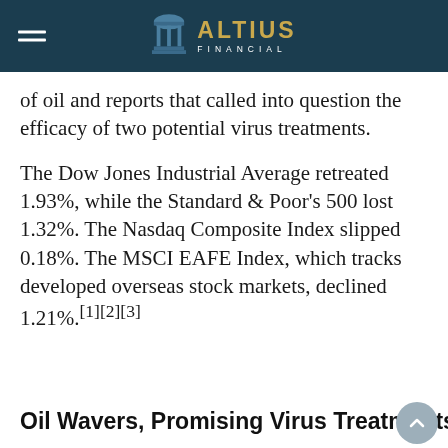ALTIUS FINANCIAL
of oil and reports that called into question the efficacy of two potential virus treatments.
The Dow Jones Industrial Average retreated 1.93%, while the Standard & Poor's 500 lost 1.32%. The Nasdaq Composite Index slipped 0.18%. The MSCI EAFE Index, which tracks developed overseas stock markets, declined 1.21%.[1][2][3]
Oil Wavers, Promising Virus Treatments